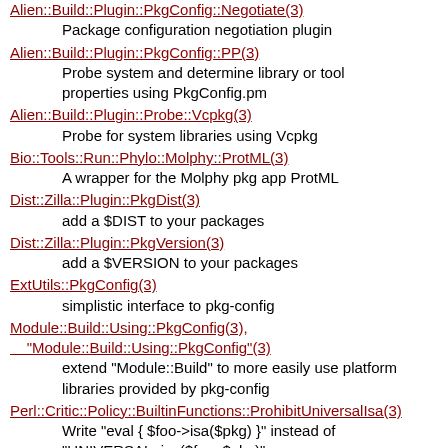Alien::Build::Plugin::PkgConfig::Negotiate(3)
    Package configuration negotiation plugin
Alien::Build::Plugin::PkgConfig::PP(3)
    Probe system and determine library or tool properties using PkgConfig.pm
Alien::Build::Plugin::Probe::Vcpkg(3)
    Probe for system libraries using Vcpkg
Bio::Tools::Run::Phylo::Molphy::ProtML(3)
    A wrapper for the Molphy pkg app ProtML
Dist::Zilla::Plugin::PkgDist(3)
    add a $DIST to your packages
Dist::Zilla::Plugin::PkgVersion(3)
    add a $VERSION to your packages
ExtUtils::PkgConfig(3)
    simplistic interface to pkg-config
Module::Build::Using::PkgConfig(3), "Module::Build::Using::PkgConfig"(3)
    extend "Module::Build" to more easily use platform libraries provided by pkg-config
Perl::Critic::Policy::BuiltinFunctions::ProhibitUniversalIsa(3)
    Write "eval { $foo->isa($pkg) }" instead of "UNIVERSAL::isa($foo, $pkg)"
PkgConfig(3)
    Pure-Perl Core-Only replacement for pkg-config
PkgConfig::LibPkgConf(3)
    Interface to .pc file interface via libpkgconf